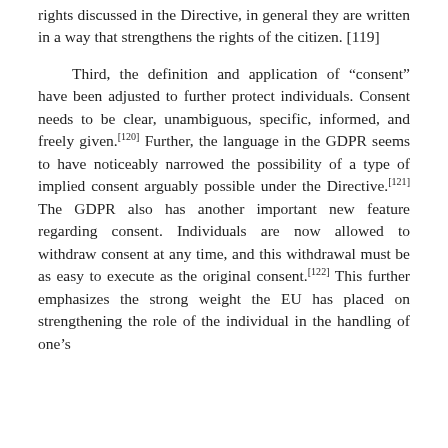rights discussed in the Directive, in general they are written in a way that strengthens the rights of the citizen. [119]
Third, the definition and application of “consent” have been adjusted to further protect individuals. Consent needs to be clear, unambiguous, specific, informed, and freely given.[120] Further, the language in the GDPR seems to have noticeably narrowed the possibility of a type of implied consent arguably possible under the Directive.[121] The GDPR also has another important new feature regarding consent. Individuals are now allowed to withdraw consent at any time, and this withdrawal must be as easy to execute as the original consent.[122] This further emphasizes the strong weight the EU has placed on strengthening the role of the individual in the handling of one’s